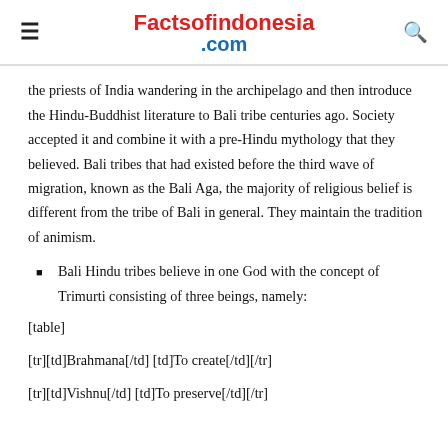Factsofindonesia.com
the priests of India wandering in the archipelago and then introduce the Hindu-Buddhist literature to Bali tribe centuries ago. Society accepted it and combine it with a pre-Hindu mythology that they believed. Bali tribes that had existed before the third wave of migration, known as the Bali Aga, the majority of religious belief is different from the tribe of Bali in general. They maintain the tradition of animism.
Bali Hindu tribes believe in one God with the concept of Trimurti consisting of three beings, namely:
[table]
[tr][td]Brahmana[/td] [td]To create[/td][/tr]
[tr][td]Vishnu[/td] [td]To preserve[/td][/tr]